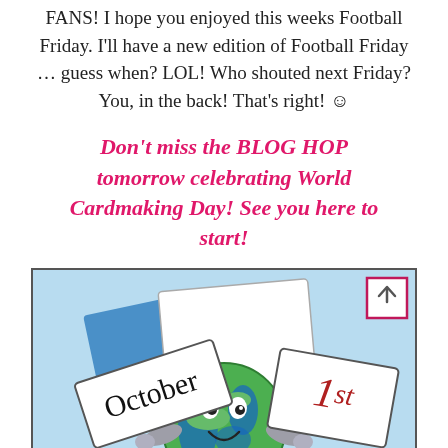FANS! I hope you enjoyed this weeks Football Friday. I'll have a new edition of Football Friday … guess when? LOL! Who shouted next Friday? You, in the back! That's right! ☺
Don't miss the BLOG HOP tomorrow celebrating World Cardmaking Day! See you here to start!
[Figure (illustration): Cartoon illustration of a globe character holding two signs reading 'October' and '1st', with a blue background suggesting sky and cards. An arrow-up button box appears in the top right corner.]